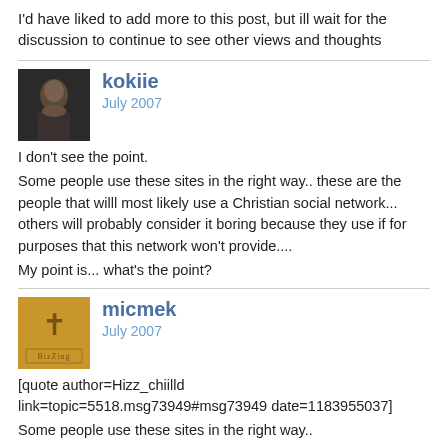I'd have liked to add more to this post, but ill wait for the discussion to continue to see other views and thoughts
kokiie
July 2007

I don't see the point.
Some people use these sites in the right way.. these are the people that willl most likely use a Christian social network... others will probably consider it boring because they use if for purposes that this network won't provide....
My point is... what's the point?
micmek
July 2007

[quote author=Hizz_chiilld link=topic=5518.msg73949#msg73949 date=1183955037]
Some people use these sites in the right way..

Thats fine... but are they affected by the other people that use it in the wrong way?
The youth most probably out of peer pressure.
So in other words the people that do use these sites the right way shudnt use it at all... but that unfair since its not the tool thats wrong, its